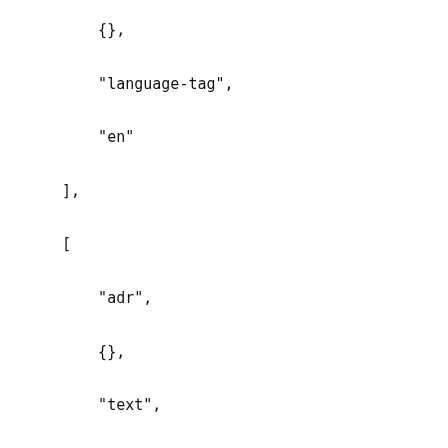{},
"language-tag",
"en"
],
[
    "adr",
    {},
    "text",
    [
        "",
        "",
        "",
        "",
        "AZ",
        "",